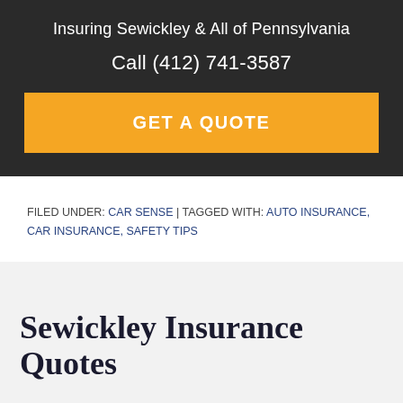Insuring Sewickley & All of Pennsylvania
Call (412) 741-3587
GET A QUOTE
FILED UNDER: CAR SENSE | TAGGED WITH: AUTO INSURANCE, CAR INSURANCE, SAFETY TIPS
Sewickley Insurance Quotes